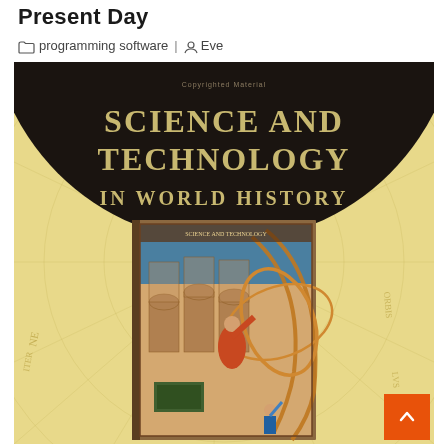Present Day
programming software | Eve
[Figure (photo): Book cover for 'Science and Technology in World History' showing a historical illustration of a scholar/astronomer with a large armillary sphere or astrolabe in a multi-story library setting, overlaid on a vintage world map background. The cover has a dark semicircular banner at the top with the title text and 'Copyrighted Material' watermark.]